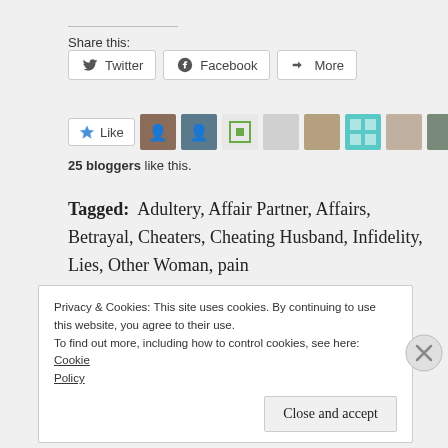Share this:
[Figure (screenshot): Social share buttons: Twitter, Facebook, More]
[Figure (screenshot): Like button and 10 blogger avatars]
25 bloggers like this.
Tagged: Adultery, Affair Partner, Affairs, Betrayal, Cheaters, Cheating Husband, Infidelity, Lies, Other Woman, pain
Privacy & Cookies: This site uses cookies. By continuing to use this website, you agree to their use. To find out more, including how to control cookies, see here: Cookie Policy
Close and accept